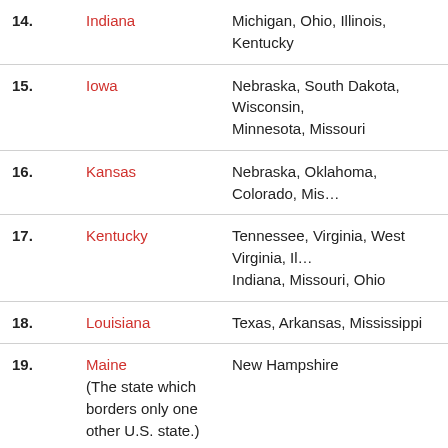| # | State | Neighboring States |
| --- | --- | --- |
| 14. | Indiana | Michigan, Ohio, Illinois, Kentucky |
| 15. | Iowa | Nebraska, South Dakota, Wisconsin, Minnesota, Missouri |
| 16. | Kansas | Nebraska, Oklahoma, Colorado, Mis… |
| 17. | Kentucky | Tennessee, Virginia, West Virginia, Il… Indiana, Missouri, Ohio |
| 18. | Louisiana | Texas, Arkansas, Mississippi |
| 19. | Maine
(The state which borders only one other U.S. state.) | New Hampshire |